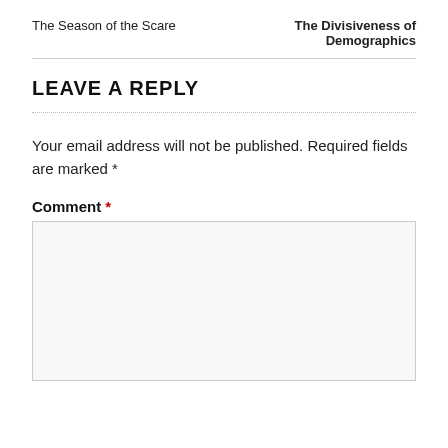The Season of the Scare    The Divisiveness of Demographics
LEAVE A REPLY
Your email address will not be published. Required fields are marked *
Comment *